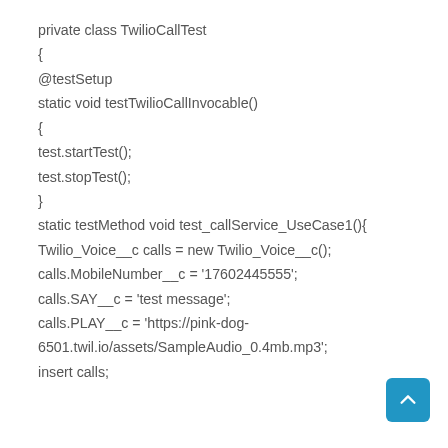[Figure (screenshot): Code snippet showing a private Apex class TwilioCallTest with @testSetup and @testMethod annotations, including test methods testTwilioCallInvocable and test_callService_UseCase1 with Twilio_Voice__c object operations.]